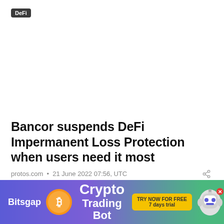DeFi
Bancor suspends DeFi Impermanent Loss Protection when users need it most
protos.com • 21 June 2022 07:56, UTC
DeFi
[Figure (infographic): Bitsgap Crypto Trading Bot advertisement banner with yellow coin, robot mascot, and 'TRY NOW FOR FREE 7 days trial' button]